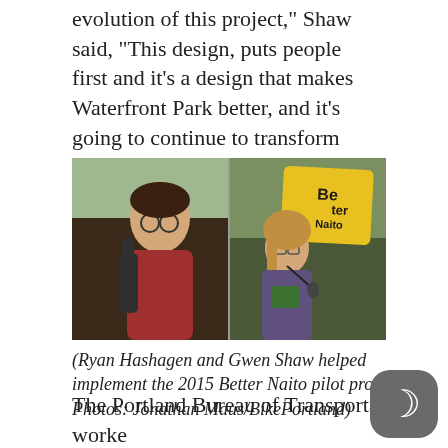evolution of this project,” Shaw said, “This design, puts people first and it’s a design that makes Waterfront Park better, and it’s going to continue to transform Naito Parkway.”
[Figure (photo): Two side-by-side photos: left shows Ryan Hashagen (young man with glasses and backpack), right shows Gwen Shaw speaking at a podium in front of a yellow Better Naito sign.]
(Ryan Hashagen and Gwen Shaw helped implement the 2015 Better Naito pilot project. Photos: Jonathan Maus/BikePortland)
The Portland Bureau of Transportation worke closely with activists to implement the project